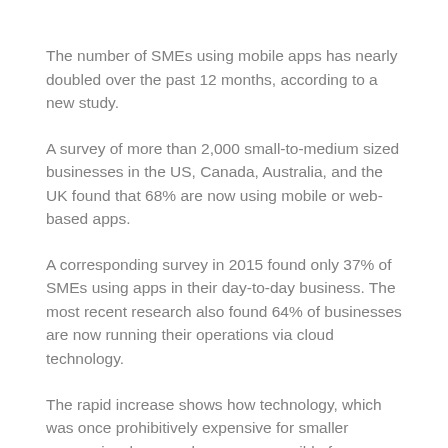The number of SMEs using mobile apps has nearly doubled over the past 12 months, according to a new study.
A survey of more than 2,000 small-to-medium sized businesses in the US, Canada, Australia, and the UK found that 68% are now using mobile or web-based apps.
A corresponding survey in 2015 found only 37% of SMEs using apps in their day-to-day business. The most recent research also found 64% of businesses are now running their operations via cloud technology.
The rapid increase shows how technology, which was once prohibitively expensive for smaller companies, has now become accessible for businesses of all shapes and sizes.